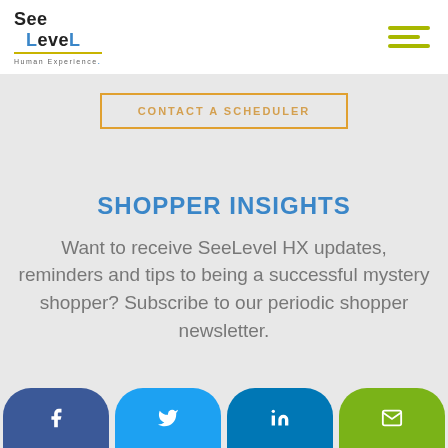SeeLevel Human Experience. [logo with hamburger menu]
CONTACT A SCHEDULER
SHOPPER INSIGHTS
Want to receive SeeLevel HX updates, reminders and tips to being a successful mystery shopper? Subscribe to our periodic shopper newsletter.